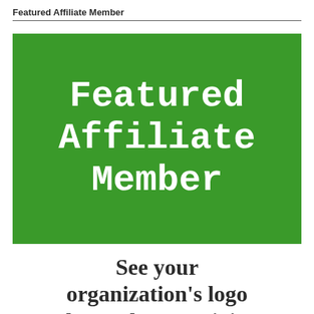Featured Affiliate Member
[Figure (illustration): Green rectangle box with white bold serif/monospace text reading 'Featured Affiliate Member' centered on a green background]
See your organization's logo here when you join